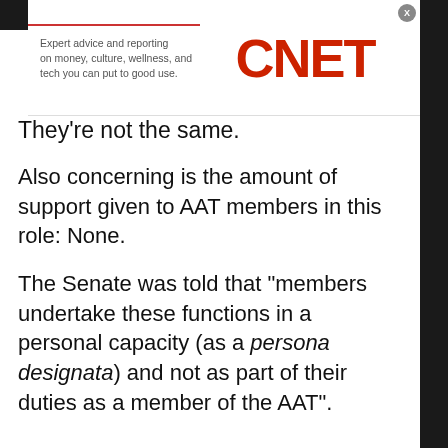[Figure (other): CNET advertisement banner with red top border, tagline text 'Expert advice and reporting on money, culture, wellness, and tech you can put to good use.' and red CNET logo]
They're not the same.
Also concerning is the amount of support given to AAT members in this role: None.
The Senate was told that "members undertake these functions in a personal capacity (as a persona designata) and not as part of their duties as a member of the AAT".
"AAT staff do not provide any legal support in respect of applications considered by an AAT member under the Act," AGD wrote.